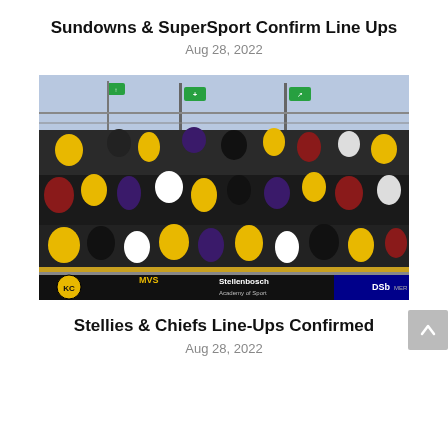Sundowns & SuperSport Confirm Line Ups
Aug 28, 2022
[Figure (photo): A large crowd of football fans standing at stadium barriers, wearing black and yellow colors (Kaizer Chiefs fans), with green safety signs visible overhead and a Stellenbosch Academy of Sport advertising board at the bottom.]
Stellies & Chiefs Line-Ups Confirmed
Aug 28, 2022